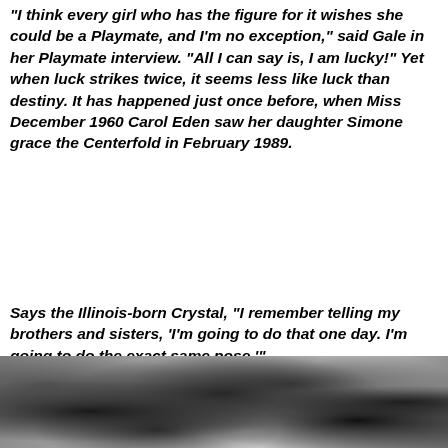“I think every girl who has the figure for it wishes she could be a Playmate, and I’m no exception,” said Gale in her Playmate interview. “All I can say is, I am lucky!” Yet when luck strikes twice, it seems less like luck than destiny. It has happened just once before, when Miss December 1960 Carol Eden saw her daughter Simone grace the Centerfold in February 1989.
Says the Illinois-born Crystal, “I remember telling my brothers and sisters, ‘I’m going to do that one day. I’m going to do the exact same pose.’”
(Ibid.)
[Figure (photo): Black and white photograph showing foliage/leaves, partially visible at the bottom of the page]